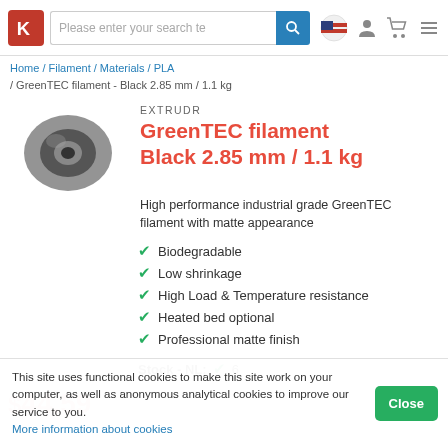Please enter your search te [search icon] [flag icon] [user icon] [cart icon] [menu icon]
Home / Filament / Materials / PLA / GreenTEC filament - Black 2.85 mm / 1.1 kg
[Figure (photo): Gray/black filament spool on white background]
EXTRUDR
GreenTEC filament Black 2.85 mm / 1.1 kg
High performance industrial grade GreenTEC filament with matte appearance
Biodegradable
Low shrinkage
High Load & Temperature resistance
Heated bed optional
Professional matte finish
Stock - NL: ✓ 6
This site uses functional cookies to make this site work on your computer, as well as anonymous analytical cookies to improve our service to you. More information about cookies